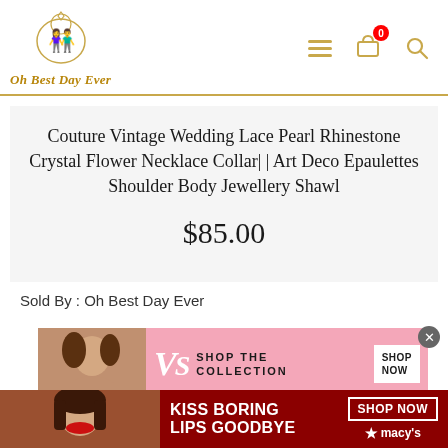[Figure (logo): Oh Best Day Ever website logo with circular illustration of a couple and gold italic text 'Oh Best Day Ever']
Couture Vintage Wedding Lace Pearl Rhinestone Crystal Flower Necklace Collar| | Art Deco Epaulettes Shoulder Body Jewellery Shawl
$85.00
Sold By : Oh Best Day Ever
[Figure (photo): Victoria's Secret advertisement banner with model, VS logo, 'SHOP THE COLLECTION' text and 'SHOP NOW' button on pink background]
[Figure (photo): Macy's advertisement banner with model showing red lips, 'KISS BORING LIPS GOODBYE' text, 'SHOP NOW' button, and Macy's star logo on dark red background]